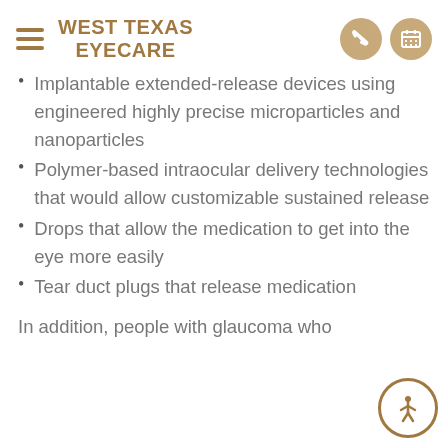WEST TEXAS EYECARE
Implantable extended-release devices using engineered highly precise microparticles and nanoparticles
Polymer-based intraocular delivery technologies that would allow customizable sustained release
Drops that allow the medication to get into the eye more easily
Tear duct plugs that release medication
In addition, people with glaucoma who